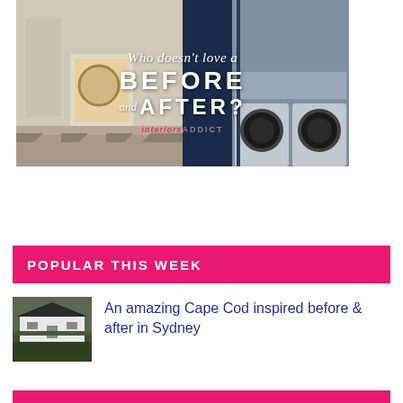[Figure (photo): Before and after laundry room renovation image with text overlay reading 'Who doesn't love a BEFORE and AFTER?' with Interiors Addict branding]
POPULAR THIS WEEK
[Figure (photo): Thumbnail photo of a Cape Cod style house with dark roof in Sydney]
An amazing Cape Cod inspired before & after in Sydney